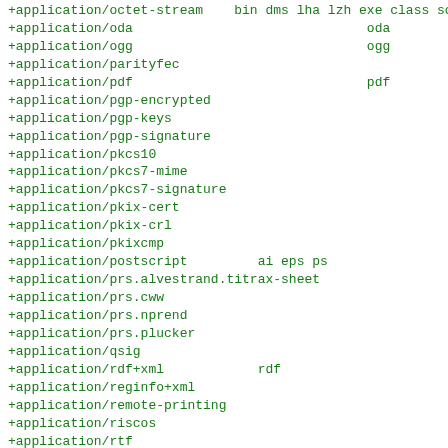+application/octet-stream   bin dms lha lzh exe class so
+application/oda                               oda
+application/ogg                               ogg
+application/parityfec
+application/pdf                               pdf
+application/pgp-encrypted
+application/pgp-keys
+application/pgp-signature
+application/pkcs10
+application/pkcs7-mime
+application/pkcs7-signature
+application/pkix-cert
+application/pkix-crl
+application/pkixcmp
+application/postscript          ai eps ps
+application/prs.alvestrand.titrax-sheet
+application/prs.cww
+application/prs.nprend
+application/prs.plucker
+application/qsig
+application/rdf+xml             rdf
+application/reginfo+xml
+application/remote-printing
+application/riscos
+application/rtf
+application/sdp
+application/set-payment
+application/set-payment-initiation
+application/set-registration
+application/set-registration-initiation
+application/sgml
+application/sgml-open-catalog
+application/sieve